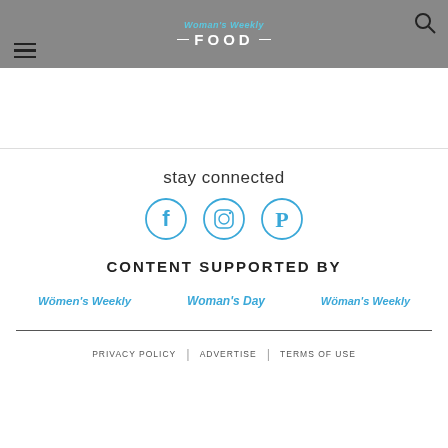[Figure (screenshot): Website header bar with hamburger menu icon on left, Women's Weekly Food logo in center, search icon on right, gray background]
stay connected
[Figure (infographic): Three social media icons in a row: Facebook, Instagram, Pinterest — all in teal/blue circle outlines]
CONTENT SUPPORTED BY
[Figure (logo): Three magazine brand logos in a row: Women's Weekly, Woman's Day, Woman's Weekly — all in blue italic text]
PRIVACY POLICY | ADVERTISE | TERMS OF USE